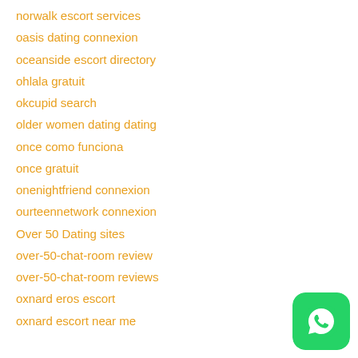norwalk escort services
oasis dating connexion
oceanside escort directory
ohlala gratuit
okcupid search
older women dating dating
once como funciona
once gratuit
onenightfriend connexion
ourteennetwork connexion
Over 50 Dating sites
over-50-chat-room review
over-50-chat-room reviews
oxnard eros escort
oxnard escort near me
[Figure (logo): WhatsApp logo — green rounded square background with white phone handset icon]